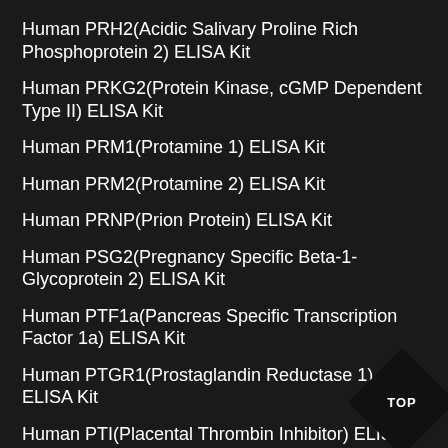Human PRH2(Acidic Salivary Proline Rich Phosphoprotein 2) ELISA Kit
Human PRKG2(Protein Kinase, cGMP Dependent Type II) ELISA Kit
Human PRM1(Protamine 1) ELISA Kit
Human PRM2(Protamine 2) ELISA Kit
Human PRNP(Prion Protein) ELISA Kit
Human PSG2(Pregnancy Specific Beta-1-Glycoprotein 2) ELISA Kit
Human PTF1a(Pancreas Specific Transcription Factor 1a) ELISA Kit
Human PTGR1(Prostaglandin Reductase 1) ELISA Kit
Human PTI(Placental Thrombin Inhibitor) ELISA Kit
Human PTK6(Protein Tyrosine Kinase 6) ELISA Kit
Human PTPRO(Protein Tyrosine Phosphatase...